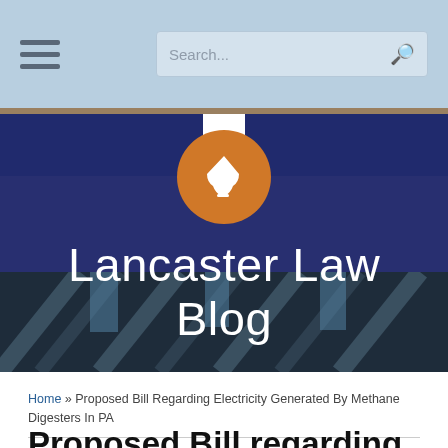[Figure (screenshot): Website header bar with hamburger menu icon on left and search box on right, on a light blue background]
[Figure (logo): Lancaster Law Blog hero banner with orange circular logo containing white graduation cap icon, blog title text in white on dark navy overlay over building photograph]
Home » Proposed Bill Regarding Electricity Generated By Methane Digesters In PA
Proposed Bill regarding